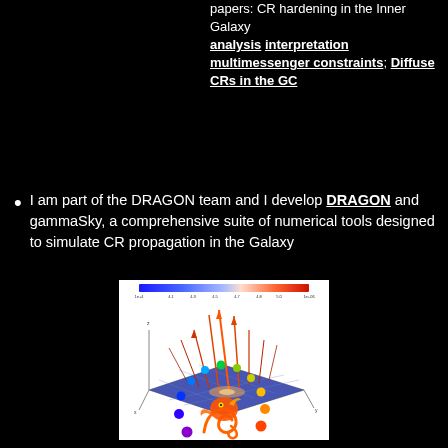papers: CR hardening in the Inner Galaxy analysis interpretation multimessenger constraints; Diffuse CRs in the GC
I am part of the DRAGON team and I develop DRAGON and gammaSky, a comprehensive suite of numerical tools designed to simulate CR propagation in the Galaxy
[Figure (other): 3D plot showing CR propagation simulation with blue base plane, colorbar at top ranging from blue to red, and vertical lines/vectors in red/orange rising from center region]
[Figure (logo): DRAGON software logo: a stylized orange dragon with multicolored dots arranged in an arc]